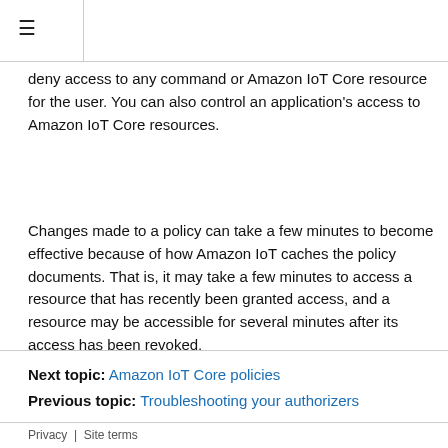≡
deny access to any command or Amazon IoT Core resource for the user. You can also control an application's access to Amazon IoT Core resources.
Changes made to a policy can take a few minutes to become effective because of how Amazon IoT caches the policy documents. That is, it may take a few minutes to access a resource that has recently been granted access, and a resource may be accessible for several minutes after its access has been revoked.
Next topic: Amazon IoT Core policies
Previous topic: Troubleshooting your authorizers
Privacy | Site terms